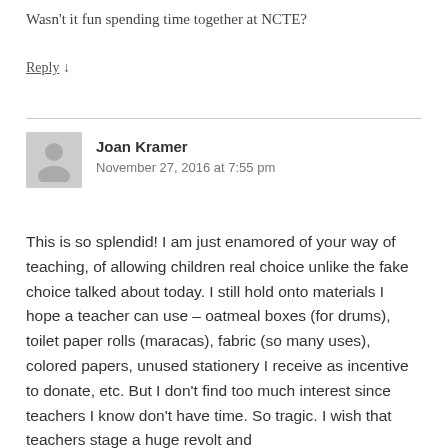Wasn't it fun spending time together at NCTE?
Reply ↓
Joan Kramer
November 27, 2016 at 7:55 pm
This is so splendid! I am just enamored of your way of teaching, of allowing children real choice unlike the fake choice talked about today. I still hold onto materials I hope a teacher can use – oatmeal boxes (for drums), toilet paper rolls (maracas), fabric (so many uses), colored papers, unused stationery I receive as incentive to donate, etc. But I don't find too much interest since teachers I know don't have time. So tragic. I wish that teachers stage a huge revolt and